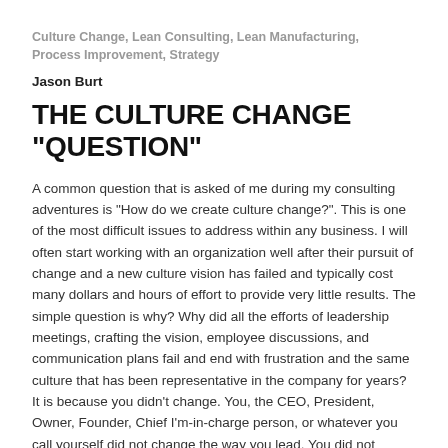Culture Change, Lean Consulting, Lean Manufacturing, Process Improvement, Strategy
Jason Burt
THE CULTURE CHANGE “QUESTION”
A common question that is asked of me during my consulting adventures is “How do we create culture change?”. This is one of the most difficult issues to address within any business. I will often start working with an organization well after their pursuit of change and a new culture vision has failed and typically cost many dollars and hours of effort to provide very little results. The simple question is why? Why did all the efforts of leadership meetings, crafting the vision, employee discussions, and communication plans fail and end with frustration and the same culture that has been representative in the company for years? It is because you didn’t change. You, the CEO, President, Owner, Founder, Chief I’m-in-charge person, or whatever you call yourself did not change the way you lead. You did not change YOUR